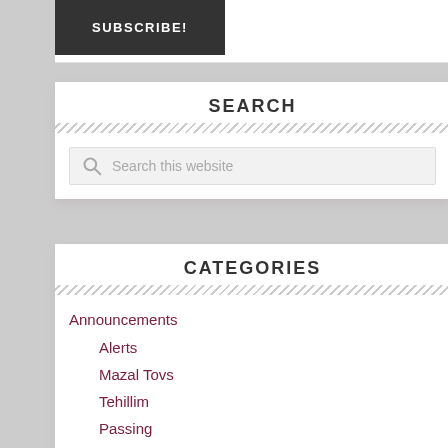SUBSCRIBE!
SEARCH
Search this website
CATEGORIES
Announcements
Alerts
Mazal Tovs
Tehillim
Passing
Kashrus